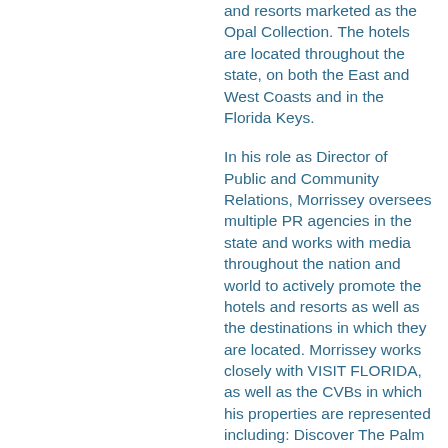and resorts marketed as the Opal Collection. The hotels are located throughout the state, on both the East and West Coasts and in the Florida Keys.
In his role as Director of Public and Community Relations, Morrissey oversees multiple PR agencies in the state and works with media throughout the nation and world to actively promote the hotels and resorts as well as the destinations in which they are located. Morrissey works closely with VISIT FLORIDA, as well as the CVBs in which his properties are represented including: Discover The Palm Beaches, Visit Sarasota, Greater Fort Lauderdale Convention &